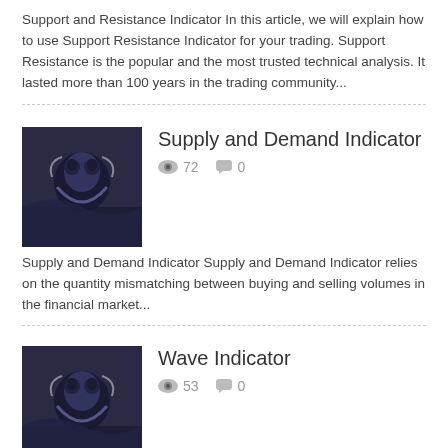Support and Resistance Indicator In this article, we will explain how to use Support Resistance Indicator for your trading. Support Resistance is the popular and the most trusted technical analysis. It lasted more than 100 years in the trading community...
Supply and Demand Indicator
72  0
Supply and Demand Indicator Supply and Demand Indicator relies on the quantity mismatching between buying and selling volumes in the financial market...
Wave Indicator
53  0
Wave Indicator - How to Use Overlapping Wave Patterns [ EFW Analytics for MetaTrader 4 ] [ EFW Analytics for MetaTrader 5 ] Third characteristic of equilibrium fractal wave is that smaller equilibrium fractal waves can combine to form a bigger equilibrium fractal wave (superimposed...